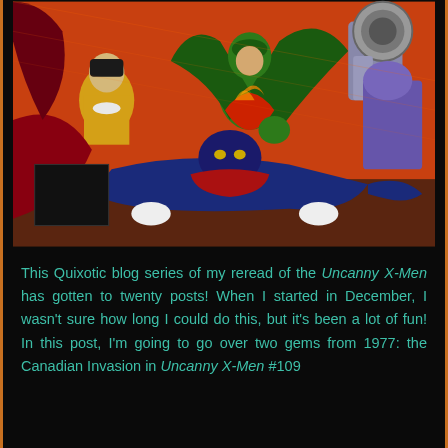[Figure (illustration): Comic book cover art showing X-Men characters in action. A blue-skinned character (Nightcrawler) crawls on the ground in the foreground, while a green-caped figure flies/leaps above. A yellow-costumed character is visible in the background left. A robotic or armored figure with a large cylindrical weapon appears on the right. The art style is classic Marvel comics from the late 1970s. A small black rectangle appears in the lower-left of the image area.]
This Quixotic blog series of my reread of the Uncanny X-Men has gotten to twenty posts! When I started in December, I wasn't sure how long I could do this, but it's been a lot of fun! In this post, I'm going to go over two gems from 1977: the Canadian Invasion in Uncanny X-Men #109